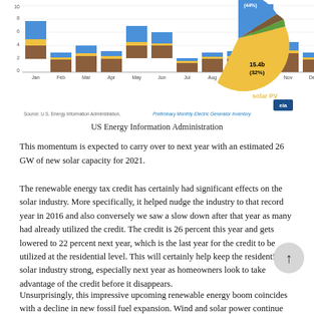[Figure (other): Partial view of a stacked bar chart (monthly solar capacity additions Jan-Dec) and a pie chart showing solar PV share breakdown with label 15.4b (32%) and solar PV label. EIA logo visible.]
US Energy Information Administration
This momentum is expected to carry over to next year with an estimated 26 GW of new solar capacity for 2021.
The renewable energy tax credit has certainly had significant effects on the solar industry. More specifically, it helped nudge the industry to that record year in 2016 and also conversely we saw a slow down after that year as many had already utilized the credit. The credit is 26 percent this year and gets lowered to 22 percent next year, which is the last year for the credit to be utilized at the residential level. This will certainly help keep the residential solar industry strong, especially next year as homeowners look to take advantage of the credit before it disappears.
Unsurprisingly, this impressive upcoming renewable energy boom coincides with a decline in new fossil fuel expansion. Wind and solar power continue to lessen our need and reliance on dirty fossil fuels.